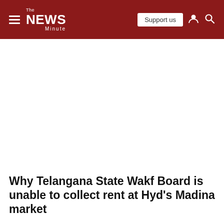The News Minute — Support us
Why Telangana State Wakf Board is unable to collect rent at Hyd's Madina market
The Telangana State Wakf Board is mandated to collect the